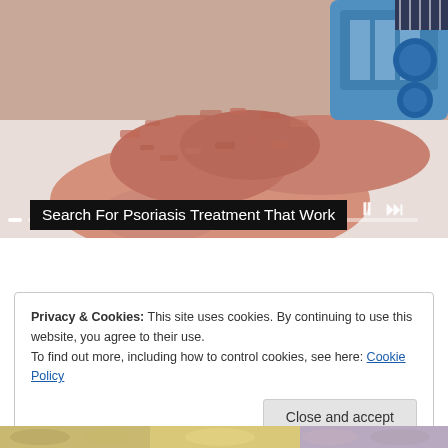[Figure (screenshot): A hand with psoriasis skin condition being treated with a medical device/light therapy. The hand shows scaly, red, inflamed skin characteristic of psoriasis. A blue medical device is visible in the upper right. Media player controls (skip back, pause, skip forward) are visible in the lower right, and progress indicators along the bottom of the image.]
Search For Psoriasis Treatment That Work
Privacy & Cookies: This site uses cookies. By continuing to use this website, you agree to their use.
To find out more, including how to control cookies, see here: Cookie Policy
[Figure (screenshot): Bottom strip showing partial images of natural/herbal items (grains, flowers, herbs) suggesting alternative or natural psoriasis treatments.]